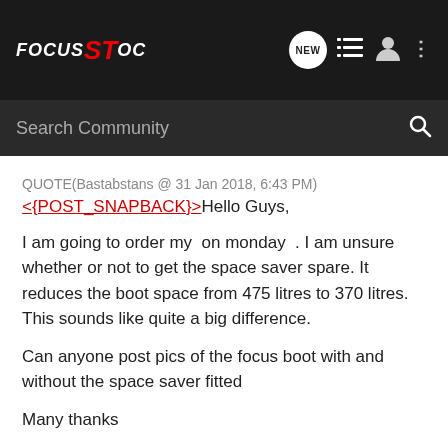FOCUS ST OC — navigation header with search bar
QUOTE(Bastabstans @ 31 Jan 2018, 6:43 PM)
<{POST_SNAPBACK}>Hello Guys,

I am going to order my  on monday  . I am unsure whether or not to get the space saver spare. It reduces the boot space from 475 litres to 370 litres. This sounds like quite a big difference.

Can anyone post pics of the focus boot with and without the space saver fitted

Many thanks

Adam
if you do a search you will find pics of boot with space saver.